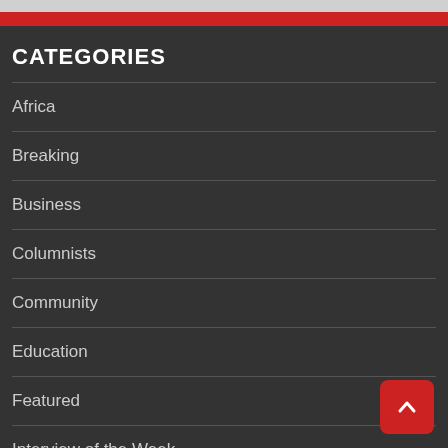CATEGORIES
Africa
Breaking
Business
Columnists
Community
Education
Featured
Interview of the Week
Investigative Report
Music
News
Politics